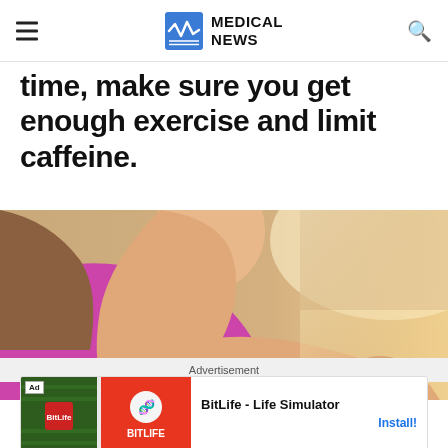MEDICAL NEWS
time, make sure you get enough exercise and limit caffeine.
[Figure (photo): Woman in pink sports bra checking smartwatch on her wrist, fitness/exercise context]
Advertisement
[Figure (other): BitLife - Life Simulator app advertisement banner with Install button]